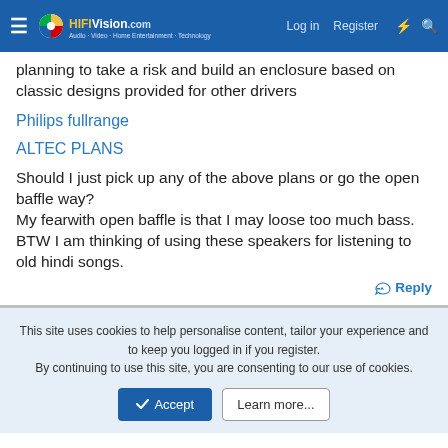HiFiVision.com — Log in | Register
planning to take a risk and build an enclosure based on classic designs provided for other drivers
Philips fullrange
ALTEC PLANS
Should I just pick up any of the above plans or go the open baffle way?
My fearwith open baffle is that I may loose too much bass.
BTW I am thinking of using these speakers for listening to old hindi songs.
Reply
This site uses cookies to help personalise content, tailor your experience and to keep you logged in if you register.
By continuing to use this site, you are consenting to our use of cookies.
Accept | Learn more...